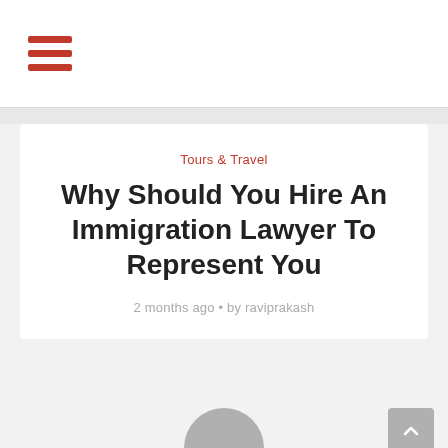☰
Tours & Travel
Why Should You Hire An Immigration Lawyer To Represent You
2 months ago • by raviprakash